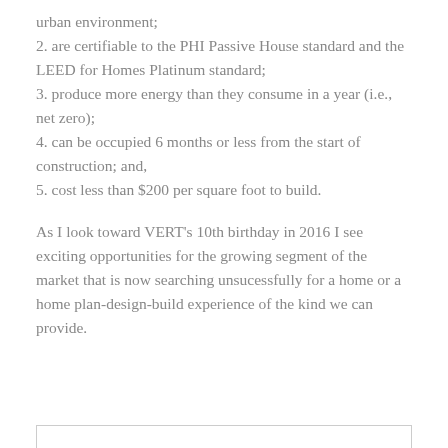urban environment;
2. are certifiable to the PHI Passive House standard and the LEED for Homes Platinum standard;
3. produce more energy than they consume in a year (i.e., net zero);
4. can be occupied 6 months or less from the start of construction; and,
5. cost less than $200 per square foot to build.
As I look toward VERT’s 10th birthday in 2016 I see exciting opportunities for the growing segment of the market that is now searching unsucessfully for a home or a home plan-design-build experience of the kind we can provide.